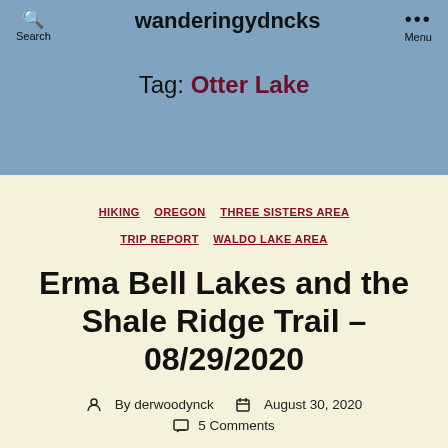wanderingydncks — Search | Menu
Tag: Otter Lake
HIKING  OREGON  THREE SISTERS AREA  TRIP REPORT  WALDO LAKE AREA
Erma Bell Lakes and the Shale Ridge Trail – 08/29/2020
By derwoodynck  August 30, 2020  5 Comments